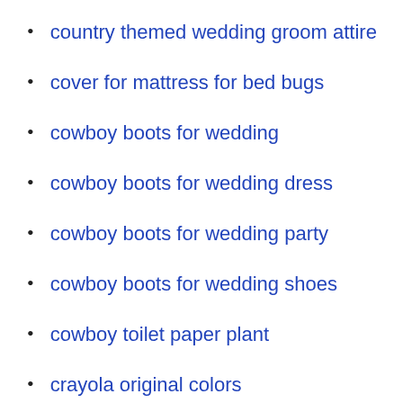country themed wedding groom attire
cover for mattress for bed bugs
cowboy boots for wedding
cowboy boots for wedding dress
cowboy boots for wedding party
cowboy boots for wedding shoes
cowboy toilet paper plant
crayola original colors
cream or beige dresses
cream polka dot dress
cream polka dot dress zara
create a music playlist
create a music playlist for free
create a music playlist on alexa
create a music playlist on android